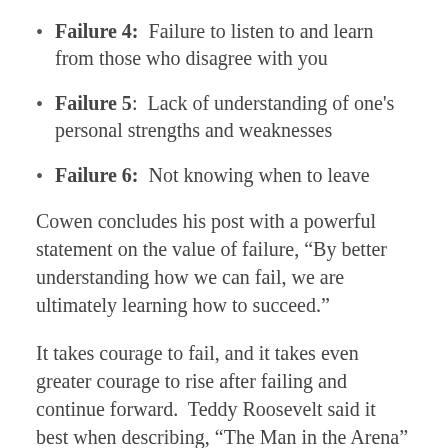Failure 4: Failure to listen to and learn from those who disagree with you
Failure 5: Lack of understanding of one's personal strengths and weaknesses
Failure 6: Not knowing when to leave
Cowen concludes his post with a powerful statement on the value of failure, “By better understanding how we can fail, we are ultimately learning how to succeed.”
It takes courage to fail, and it takes even greater courage to rise after failing and continue forward.  Teddy Roosevelt said it best when describing, “The Man in the Arena”
“It is not the critic who counts; not the man